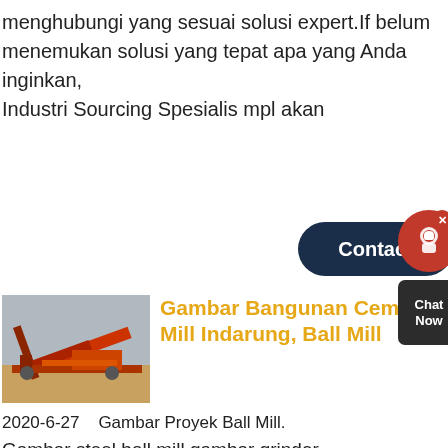menghubungi yang sesuai solusi expert.If belum menemukan solusi yang tepat apa yang Anda inginkan, Industri Sourcing Spesialis mpl akan
[Figure (screenshot): Contact button (dark navy pill shape) with headset icon on red circle background, close X button, and dark Chat Now box]
[Figure (photo): Industrial machinery/conveyor belt equipment at a mining or quarry site]
Gambar Bangunan Cem Mill Indarung, Ball Mill
2020-6-27   Gambar Proyek Ball Mill. Gambar steel ball mill gambar grinder millblastcoverbandnl gambar mineral grinding millbistrodesangbe gambar wet ball mill copper kernel sawit a ball mill is a type of grinder used to grind and blend materials for use in mineral dressing the ball mill can grind various ores and other